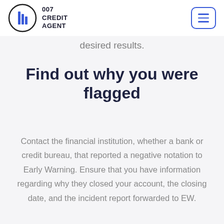007 CREDIT AGENT
desired results.
Find out why you were flagged
Contact the financial institution, whether a bank or credit bureau, that reported a negative notation to Early Warning. Ensure that you have information regarding why they closed your account, the closing date, and the incident report forwarded to EW.